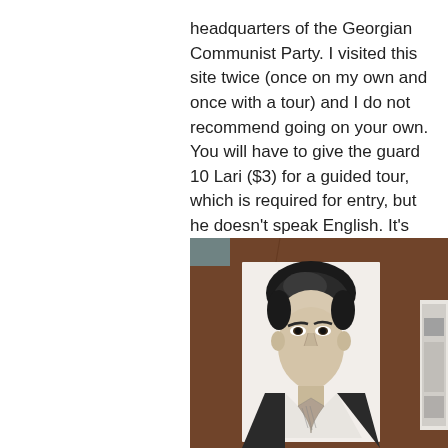headquarters of the Georgian Communist Party. I visited this site twice (once on my own and once with a tour) and I do not recommend going on your own. You will have to give the guard 10 Lari ($3) for a guided tour, which is required for entry, but he doesn't speak English. It's best to go with a tour. Another great place to learn about Soviet history is the Georgian National Museum, which had a really interesting exhibit about Communist rule in Georgia from the 1920's to 1991. I didn't take any photos because it was mostly about the assassinations and the exhibits were sad and macabre.
[Figure (photo): A black and white portrait photograph of a young man (young Stalin) mounted on a brown felt/cork board, with another partial framed image visible at the right edge.]